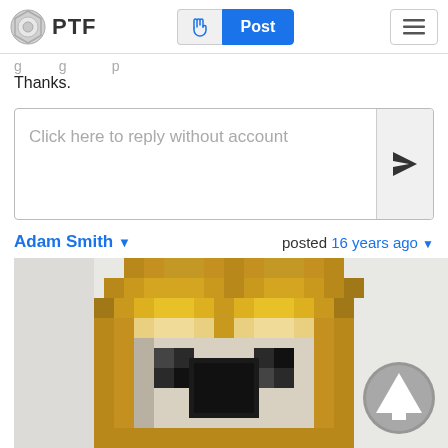PTF  [hand icon] Post [menu icon]
Thanks.
Click here to reply without account
Adam Smith ▾   posted 16 years ago ▾
[Figure (screenshot): Pixelated/blurry Minecraft-style character face, golden/brown helmet or hair, dark face features, on light background. Scroll-to-top button overlay in bottom right corner.]